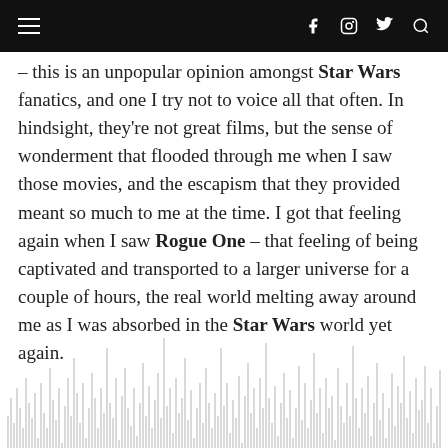≡  f  🔍  🐦  🔎
– this is an unpopular opinion amongst Star Wars fanatics, and one I try not to voice all that often. In hindsight, they're not great films, but the sense of wonderment that flooded through me when I saw those movies, and the escapism that they provided meant so much to me at the time. I got that feeling again when I saw Rogue One – that feeling of being captivated and transported to a larger universe for a couple of hours, the real world melting away around me as I was absorbed in the Star Wars world yet again.
[Figure (other): Audio waveform or bar chart visualization with many thin vertical bars of varying heights, light gray, at the bottom of the page.]